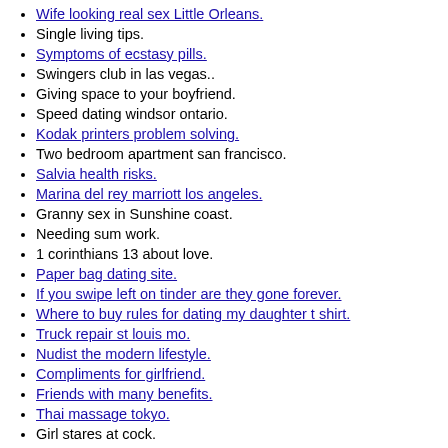Wife looking real sex Little Orleans.
Single living tips.
Symptoms of ecstasy pills.
Swingers club in las vegas..
Giving space to your boyfriend.
Speed dating windsor ontario.
Kodak printers problem solving.
Two bedroom apartment san francisco.
Salvia health risks.
Marina del rey marriott los angeles.
Granny sex in Sunshine coast.
Needing sum work.
1 corinthians 13 about love.
Paper bag dating site.
If you swipe left on tinder are they gone forever.
Where to buy rules for dating my daughter t shirt.
Truck repair st louis mo.
Nudist the modern lifestyle.
Compliments for girlfriend.
Friends with many benefits.
Thai massage tokyo.
Girl stares at cock.
Experience